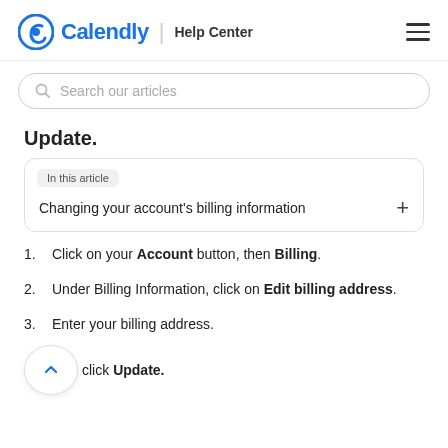Calendly | Help Center
Search our articles
Update.
In this article
Changing your account's billing information
Click on your Account button, then Billing.
Under Billing Information, click on Edit billing address.
Enter your billing address.
click Update.